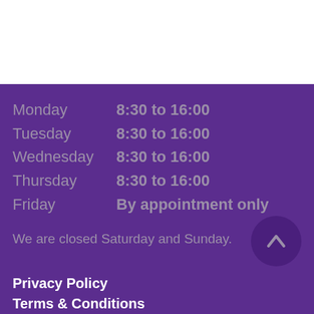| Day | Hours |
| --- | --- |
| Monday | 8:30 to 16:00 |
| Tuesday | 8:30 to 16:00 |
| Wednesday | 8:30 to 16:00 |
| Thursday | 8:30 to 16:00 |
| Friday | By appointment only |
We are closed Saturday and Sunday.
Privacy Policy
Terms & Conditions